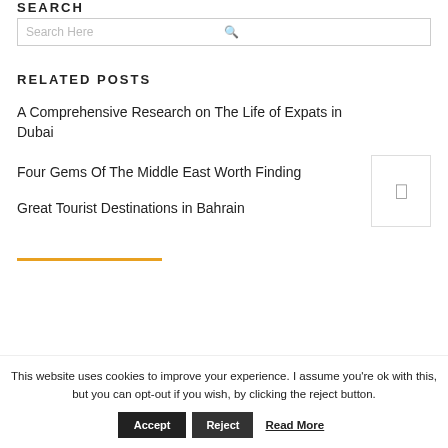SEARCH
Search Here
RELATED POSTS
A Comprehensive Research on The Life of Expats in Dubai
Four Gems Of The Middle East Worth Finding
Great Tourist Destinations in Bahrain
This website uses cookies to improve your experience. I assume you're ok with this, but you can opt-out if you wish, by clicking the reject button.
Accept  Reject  Read More